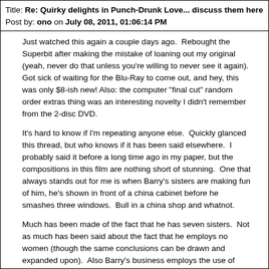Title: Re: Quirky delights in Punch-Drunk Love... discuss them here
Post by: ono on July 08, 2011, 01:06:14 PM
Just watched this again a couple days ago.  Rebought the Superbit after making the mistake of loaning out my original (yeah, never do that unless you're willing to never see it again).  Got sick of waiting for the Blu-Ray to come out, and hey, this was only $8-ish new! Also: the computer "final cut" random order extras thing was an interesting novelty I didn't remember from the 2-disc DVD.
It's hard to know if I'm repeating anyone else.  Quickly glanced this thread, but who knows if it has been said elsewhere.  I probably said it before a long time ago in my paper, but the compositions in this film are nothing short of stunning.  One that always stands out for me is when Barry's sisters are making fun of him, he's shown in front of a china cabinet before he smashes three windows.  Bull in a china shop and whatnot.
Much has been made of the fact that he has seven sisters.  Not as much has been said about the fact that he employs no women (though the same conclusions can be drawn and expanded upon).  Also Barry's business employs the use of cheap Mexican labor.  No wonder he's looking to/can afford to diversify.  Again, proving PTA is clearly racist (http://xixax.com/index.php?topic=5590.0).
Title: Re: Quirky delights in Punch-Drunk Love... discuss them here
Post by: children with angels on July 16, 2011, 11:07:05 AM